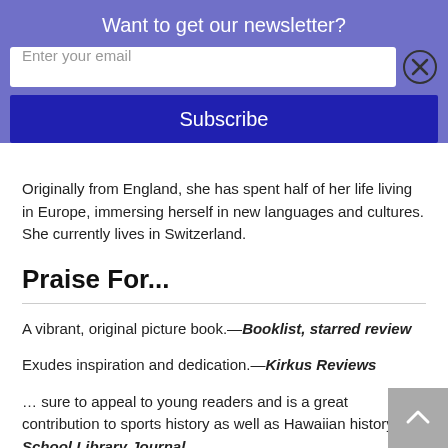Want to get our newsletter?
[Figure (screenshot): Email subscription form with text input 'Enter your email', a close (X) button, and a dark blue 'Subscribe' button, on a purple/periwinkle background]
Originally from England, she has spent half of her life living in Europe, immersing herself in new languages and cultures. She currently lives in Switzerland.
Praise For...
A vibrant, original picture book.—Booklist, starred review
Exudes inspiration and dedication.—Kirkus Reviews
… sure to appeal to young readers and is a great contribution to sports history as well as Hawaiian history.—School Library Journal